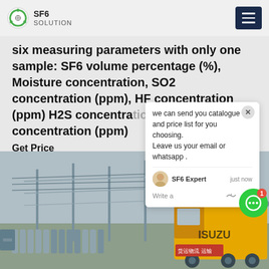SF6 SOLUTION
six measuring parameters with only one sample: SF6 volume percentage (%), Moisture concentration, SO2 concentration (ppm), HF concentration (ppm) H2S concentration and CO concentration (ppm)
Get Price
[Figure (photo): Industrial electrical substation with transmission towers and gas cylinders in foreground; an ISUZU yellow truck visible on the right side]
we can send you catalogue and price list for you choosing. Leave us your email or whatsapp .
SF6 Expert   just now
Write a